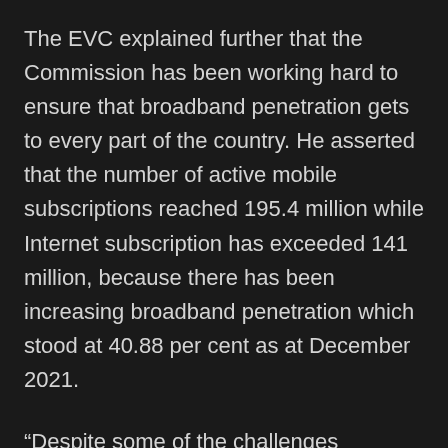The EVC explained further that the Commission has been working hard to ensure that broadband penetration gets to every part of the country. He asserted that the number of active mobile subscriptions reached 195.4 million while Internet subscription has exceeded 141 million, because there has been increasing broadband penetration which stood at 40.88 per cent as at December 2021.
“Despite some of the challenges confronting the sector, telecommunications remained an enablers of growth in the Nigerian economy, in the year 2021. The Information and Communications sector contributed over N17 trillion to the nominal Gross Domestic